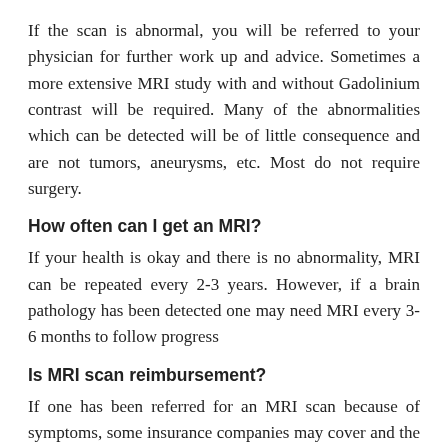If the scan is abnormal, you will be referred to your physician for further work up and advice. Sometimes a more extensive MRI study with and without Gadolinium contrast will be required. Many of the abnormalities which can be detected will be of little consequence and are not tumors, aneurysms, etc. Most do not require surgery.
How often can I get an MRI?
If your health is okay and there is no abnormality, MRI can be repeated every 2-3 years. However, if a brain pathology has been detected one may need MRI every 3-6 months to follow progress
Is MRI scan reimbursement?
If one has been referred for an MRI scan because of symptoms, some insurance companies may cover and the same rule may apply to Medicare. However,